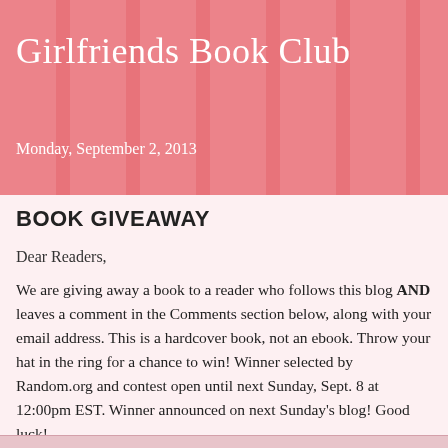Girlfriends Book Club
Monday, September 2, 2013
BOOK GIVEAWAY
Dear Readers,
We are giving away a book to a reader who follows this blog AND leaves a comment in the Comments section below, along with your email address. This is a hardcover book, not an ebook. Throw your hat in the ring for a chance to win! Winner selected by Random.org and contest open until next Sunday, Sept. 8 at 12:00pm EST. Winner announced on next Sunday's blog! Good luck!